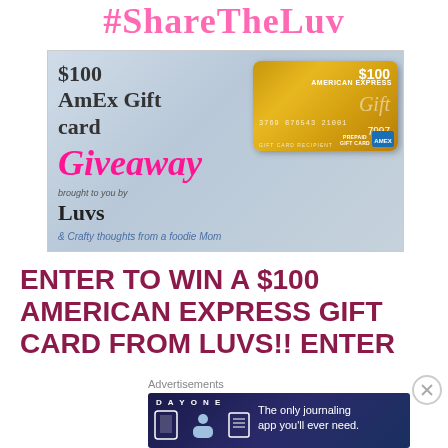#ShareTheLuv
[Figure (illustration): Giveaway promotional image for $100 AmEx Gift Card Giveaway brought to you by Luvs & Crafty thoughts from a foodie Mom, showing an American Express gold gift card with gold bow ribbons on a blue-grey background]
ENTER TO WIN A $100 AMERICAN EXPRESS GIFT CARD FROM LUVS!! ENTER
Advertisements
[Figure (illustration): DAY ONE app advertisement banner — The only journaling app you'll ever need — dark blue background with app icons]